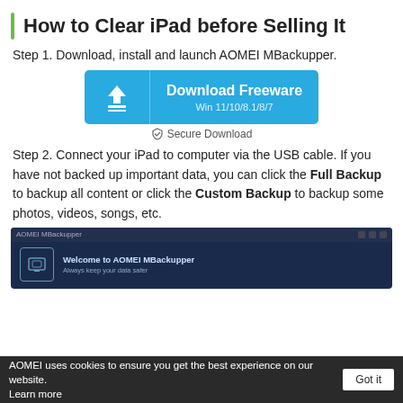How to Clear iPad before Selling It
Step 1. Download, install and launch AOMEI MBackupper.
[Figure (screenshot): Blue Download Freeware button with download arrow icon, Win 11/10/8.1/8/7]
Secure Download
Step 2. Connect your iPad to computer via the USB cable. If you have not backed up important data, you can click the Full Backup to backup all content or click the Custom Backup to backup some photos, videos, songs, etc.
[Figure (screenshot): AOMEI MBackupper application window showing welcome screen with 'Welcome to AOMEI MBackupper - Always keep your data safer']
AOMEI uses cookies to ensure you get the best experience on our website. Learn more  Got it